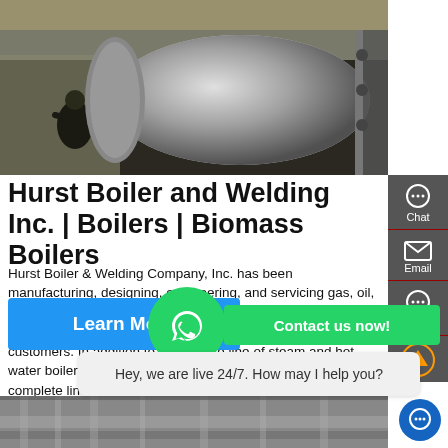[Figure (photo): Industrial boiler being worked on by a technician/worker outdoors, large cylindrical steel boiler tank visible]
Hurst Boiler and Welding Inc. | Boilers | Biomass Boilers
Hurst Boiler & Welding Company, Inc. has been manufacturing, designing, engineering, and servicing gas, oil, biomass, and hybrid firetube and watertube steam and hot water boilers since 1967, for thousands of satisfied customers. In addition to a complete line of steam and hot water boilers, Hurst Boiler Company also manufactures a complete line of boiler parts and boiler ...
[Figure (screenshot): Learn More blue button, WhatsApp icon, Contact us now! green button, Hey we are live 24/7 chat bubble, sidebar with Chat/Email/Contact buttons, bottom photo of industrial equipment]
Hey, we are live 24/7. How may I help you?